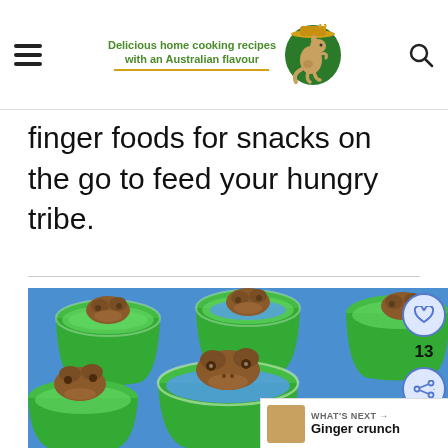Delicious home cooking recipes with an Australian flavour
finger foods for snacks on the go to feed your hungry tribe.
[Figure (photo): Multiple plastic cups filled with green and blue jelly topped with chocolate frogs (frog-shaped chocolates), arranged closely together on a blue background.]